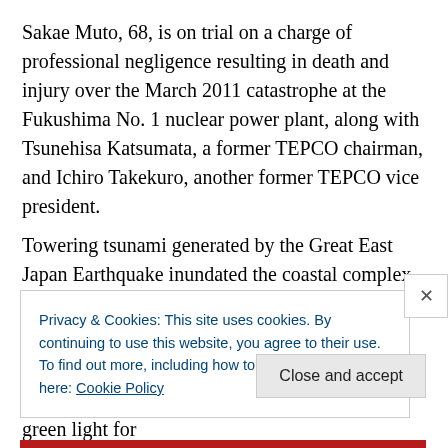Sakae Muto, 68, is on trial on a charge of professional negligence resulting in death and injury over the March 2011 catastrophe at the Fukushima No. 1 nuclear power plant, along with Tsunehisa Katsumata, a former TEPCO chairman, and Ichiro Takekuro, another former TEPCO vice president.
Towering tsunami generated by the Great East Japan Earthquake inundated the coastal complex, knocking out cooling systems and triggering a triple meltdown.
Muto denied in the Tokyo District Court that he and the two other top executives once gave the green light for
Privacy & Cookies: This site uses cookies. By continuing to use this website, you agree to their use.
To find out more, including how to control cookies, see here: Cookie Policy
Close and accept